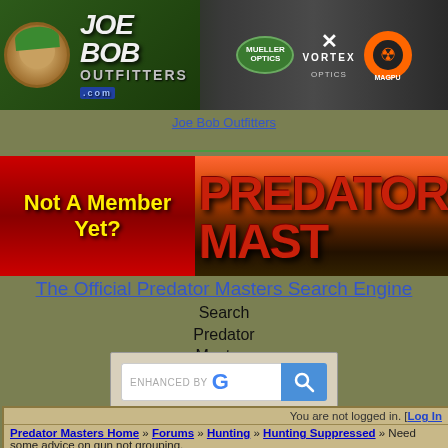[Figure (screenshot): Joe Bob Outfitters website banner with character logo, Mueller Optics, Vortex Optics, and Magpul brand logos. Text reads FREE SHIPPING ON ORDERS $50+]
Joe Bob Outfitters
[Figure (screenshot): Left: red banner with yellow text 'Not A Member Yet?'. Right: Predator Masters banner with landscape sunset background and bold red text 'PREDATOR MAST']
The Official Predator Masters Search Engine
Search
Predator
Masters
[Figure (screenshot): Google enhanced search box with text input and blue search button]
You are not logged in. [Log In
Predator Masters Home » Forums » Hunting » Hunting Suppressed » Need some advice on gun not grouping.
Register User   Forum List   Calendar   Active Topics ▼   FAQ   Who's Online